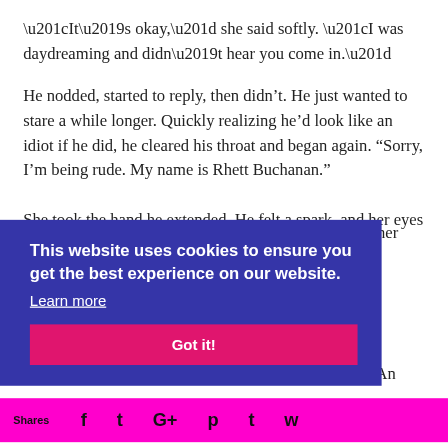“It’s okay,” she said softly. “I was daydreaming and didn’t hear you come in.”
He nodded, started to reply, then didn’t. He just wanted to stare a while longer. Quickly realizing he’d look like an idiot if he did, he cleared his throat and began again. “Sorry, I’m being rude. My name is Rhett Buchanan.”
She took the hand he extended. He felt a spark, and her eyes … at her … ?
This website uses cookies to ensure you get the best experience on our website.
Learn more
Got it!
y. An
Shares